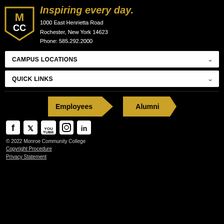[Figure (logo): MCC Monroe Community College shield logo in gold and white on black background]
Inspiring every day.
1000 East Henrietta Road
Rochester, New York 14623
Phone: 585.292.2000
CAMPUS LOCATIONS
QUICK LINKS
[Figure (illustration): Two gold arrow-shaped buttons labeled Employees and Alumni]
[Figure (illustration): Social media icons: Facebook, Twitter, YouTube, Instagram, LinkedIn]
© 2022 Monroe Community College
Copyright Procedure
Privacy Statement